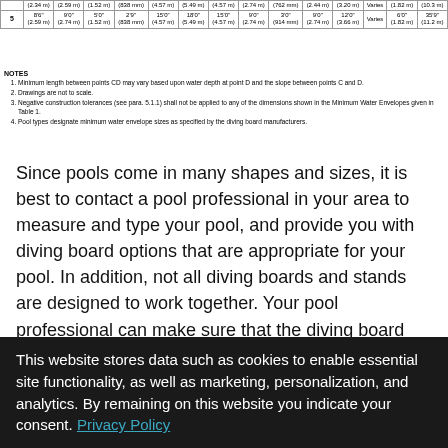| Type | A | B | C | D | E | F | G | H | I | J | K | L | M | N | O |
| --- | --- | --- | --- | --- | --- | --- | --- | --- | --- | --- | --- | --- | --- | --- | --- |
|  | (2.34 m) | (2.59 m) | (1.52 m) | (838 mm) | (4.57 m) | (5.49 m) | (4.57 m) | (2.74 m) | (762 mm) | (2.44 m) | (3.20 m) | Varies | (1.82 m) | (10.3 m) |
| 5 | 8'6" (2.59 m) | 9'0" (2.74 m) | 5'0" (1.52 m) | 2'9" (838 mm) | 15'0" (4.57 m) | 18'0" (5.49 m) | 15'0" (4.57 m) | 9'0" (2.74 m) | 3'0" (914 mm) | 9'0" (2.74 m) | 12'0" (3.66 m) | Varies | 6'0" (1.82 m) | 35'9" (11.2 m) |
NOTES
1.  Minimum length between points CD may vary based upon water depth at point D and the slope between points C and D.
2.  Drawings are not to scale.
3.  Negative construction tolerances (see para. 5.1.1) shall not be applied to any of the dimensions shown in the Minimum Water Envelopes given in Table 1.
4.  Pool types designate minimum water envelope sizes as specified by the diving board manufacturers.
Since pools come in many shapes and sizes, it is best to contact a pool professional in your area to measure and type your pool, and provide you with diving board options that are appropriate for your pool. In addition, not all diving boards and stands are designed to work together. Your pool professional can make sure that the diving board and stand you have selected are compatible.
Visit our dealer locator to find a qualified pool professional.
This website stores data such as cookies to enable essential site functionality, as well as marketing, personalization, and analytics. By remaining on this website you indicate your consent. Privacy Policy